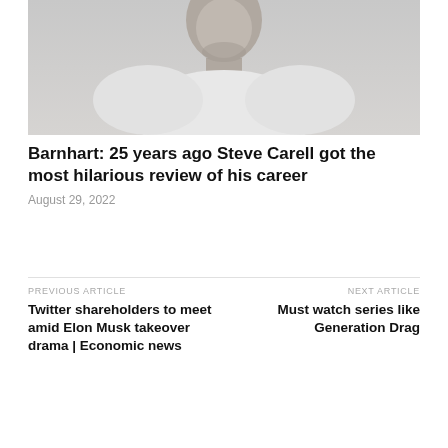[Figure (photo): A man wearing a white outfit, photographed from mid-torso up against a light grey background, with a beard and slightly smiling expression.]
Barnhart: 25 years ago Steve Carell got the most hilarious review of his career
August 29, 2022
PREVIOUS ARTICLE
Twitter shareholders to meet amid Elon Musk takeover drama | Economic news
NEXT ARTICLE
Must watch series like Generation Drag